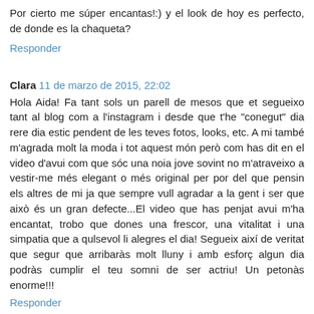Por cierto me súper encantas!:) y el look de hoy es perfecto, de donde es la chaqueta?
Responder
Clara  11 de marzo de 2015, 22:02
Hola Aida! Fa tant sols un parell de mesos que et segueixo tant al blog com a l'instagram i desde que t'he "conegut" dia rere dia estic pendent de les teves fotos, looks, etc. A mi també m'agrada molt la moda i tot aquest món però com has dit en el video d'avui com que sóc una noia jove sovint no m'atraveixo a vestir-me més elegant o més original per por del que pensin els altres de mi ja que sempre vull agradar a la gent i ser que això és un gran defecte...El video que has penjat avui m'ha encantat, trobo que dones una frescor, una vitalitat i una simpatia que a qulsevol li alegres el dia! Segueix així de veritat que segur que arribaràs molt lluny i amb esforç algun dia podràs cumplir el teu somni de ser actriu! Un petonàs enorme!!!
Responder